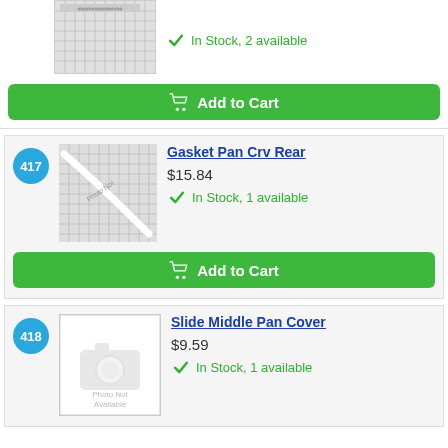$9.85
In Stock, 2 available
Add to Cart
417
[Figure (photo): Product image of Gasket Pan Crv Rear on grid background]
Gasket Pan Crv Rear
$15.84
In Stock, 1 available
Add to Cart
418
[Figure (photo): Photo Not Available placeholder image]
Slide Middle Pan Cover
$9.59
In Stock, 1 available